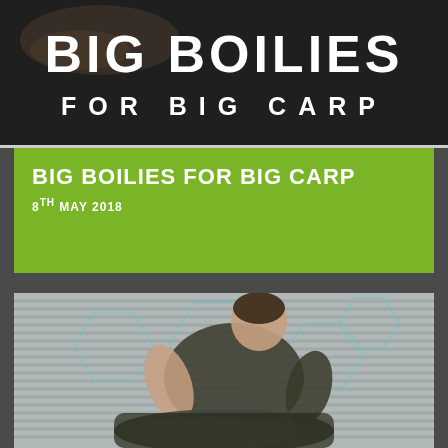[Figure (photo): Dark background banner image with overlaid text 'BIG BOILIES FOR BIG CARP' in large bold white letters]
BIG BOILIES FOR BIG CARP
8TH MAY 2018
[Figure (photo): Muscular man holding a large carp fish, photographed from above with hexagonal pattern overlay]